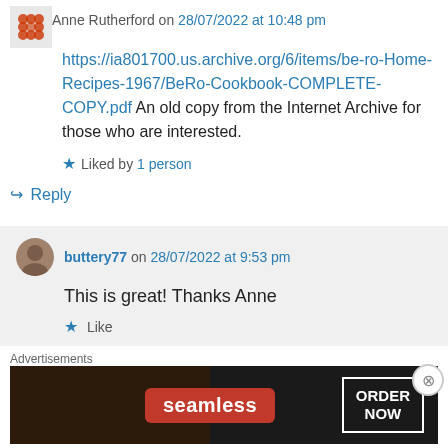Anne Rutherford on 28/07/2022 at 10:48 pm
https://ia801700.us.archive.org/6/items/be-ro-Home-Recipes-1967/BeRo-Cookbook-COMPLETE-COPY.pdf An old copy from the Internet Archive for those who are interested.
Liked by 1 person
Reply
buttery77 on 28/07/2022 at 9:53 pm
This is great! Thanks Anne
Like
Advertisements
[Figure (other): Seamless food delivery advertisement banner with pizza image, Seamless logo in red, and ORDER NOW button]